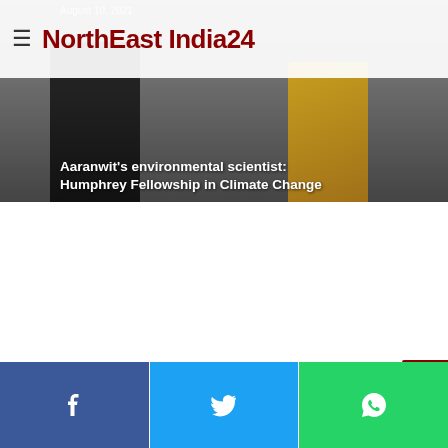NorthEast India24
[Figure (photo): Hero image of people at an event with overlay text about Aaranwit's environmental scientist receiving Humphrey Fellowship in Climate Change]
Aaranwit's environmental scientist: Humphrey Fellowship in Climate Change
[Figure (other): Back-to-top scroll button (dark red arrow up)]
[Figure (other): Social share bar with Facebook, Twitter, and WhatsApp buttons]